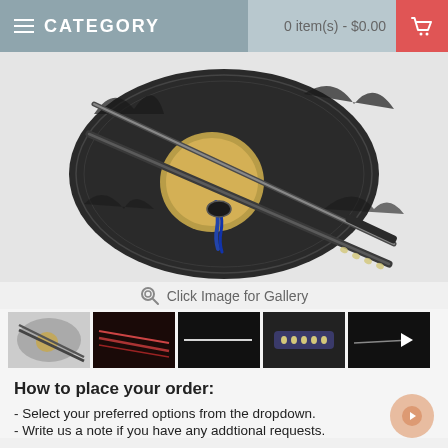CATEGORY   0 item(s) - $0.00
[Figure (photo): Katana sword set displayed on a dark ornate metal stand with relief carvings, showing crossed swords with a golden moon motif in the background.]
Click Image for Gallery
[Figure (photo): Thumbnail gallery row showing 5 images of the katana sword from different angles, including a video thumbnail with a play button.]
How to place your order:
- Select your preferred options from the dropdown.
- Write us a note if you have any addtional requests.